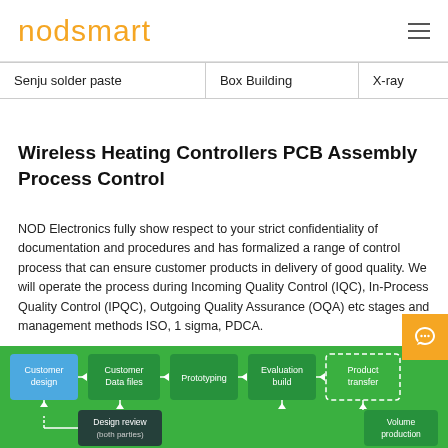nodsmart
| Senju solder paste | Box Building | X-ray |
| --- | --- | --- |
Wireless Heating Controllers PCB Assembly Process Control
NOD Electronics fully show respect to your strict confidentiality of documentation and procedures and has formalized a range of control process that can ensure customer products in delivery of good quality. We will operate the process during Incoming Quality Control (IQC), In-Process Quality Control (IPQC), Outgoing Quality Assurance (OQA) etc stages and management methods ISO, 1 sigma, PDCA.
[Figure (flowchart): PCB assembly process flowchart showing: Customer design → Customer Data files → Prototyping → Evaluation build → Product transfer → Volume production, with Design review (both parties) feedback loop]